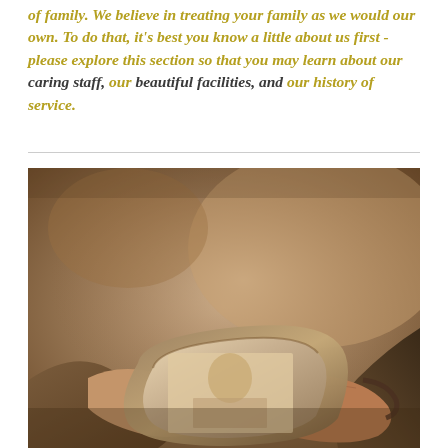of family. We believe in treating your family as we would our own. To do that, it's best you know a little about us first - please explore this section so that you may learn about our caring staff, our beautiful facilities, and our history of service.
[Figure (photo): Close-up photograph of elderly hands holding a framed sepia-toned portrait photograph. The hands show age with visible veins and wrinkles. Background is blurred warm brown tones.]